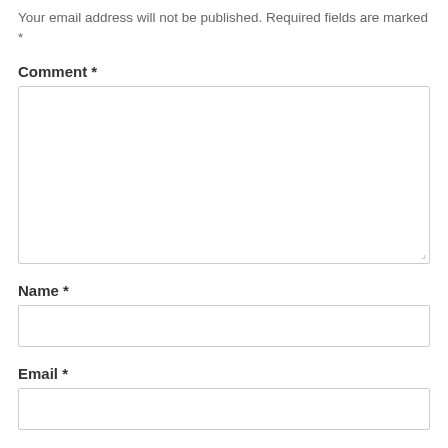Your email address will not be published. Required fields are marked *
Comment *
[Figure (other): Empty comment textarea input box with resize handle]
Name *
[Figure (other): Empty name text input box]
Email *
[Figure (other): Empty email text input box (partially visible)]